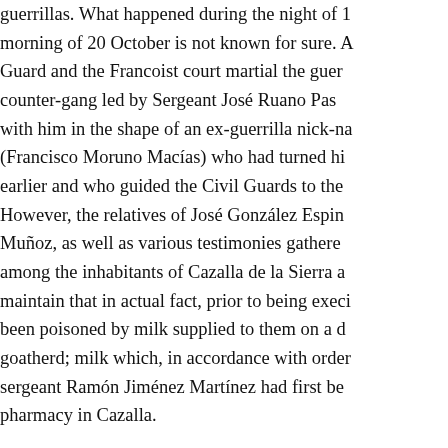guerrillas. What happened during the night of 1... morning of 20 October is not known for sure. A... Guard and the Francoist court martial the guer... counter-gang led by Sergeant José Ruano Pas... with him in the shape of an ex-guerrilla nick-na... (Francisco Moruno Macías) who had turned hi... earlier and who guided the Civil Guards to the... However, the relatives of José González Espin... Muñoz, as well as various testimonies gathere... among the inhabitants of Cazalla de la Sierra a... maintain that in actual fact, prior to being exec... been poisoned by milk supplied to them on a d... goatherd; milk which, in accordance with order... sergeant Ramón Jiménez Martínez had first be... pharmacy in Cazalla.
According to reports from pathologists Jacinto... Nosea Portero and Luis Odriozola y Ortiz del T... had five gunshot wounds from a 9 millimetre: